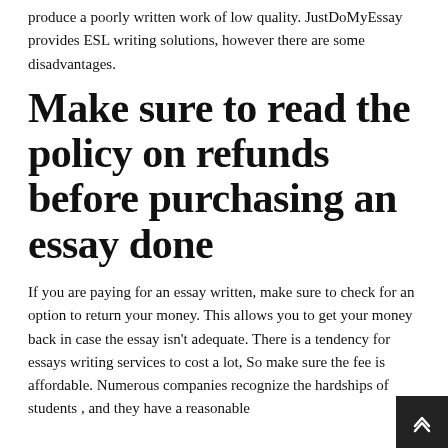produce a poorly written work of low quality. JustDoMyEssay provides ESL writing solutions, however there are some disadvantages.
Make sure to read the policy on refunds before purchasing an essay done
If you are paying for an essay written, make sure to check for an option to return your money. This allows you to get your money back in case the essay isn't adequate. There is a tendency for essays writing services to cost a lot, So make sure the fee is affordable. Numerous companies recognize the hardships of students , and they have a reasonable